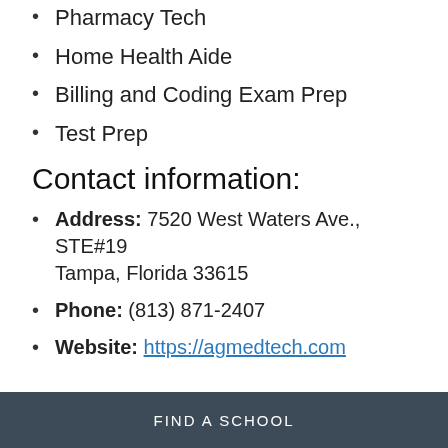Pharmacy Tech
Home Health Aide
Billing and Coding Exam Prep
Test Prep
Contact information:
Address: 7520 West Waters Ave., STE#19 Tampa, Florida 33615
Phone: (813) 871-2407
Website: https://agmedtech.com
FIND A SCHOOL